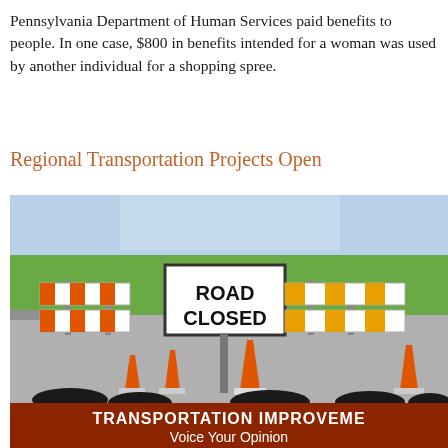Pennsylvania Department of Human Services paid benefits to people. In one case, $800 in benefits intended for a woman was used by another individual for a shopping spree.
Regional Transportation Projects Open
[Figure (photo): Photo of a road construction zone with orange and white barricades, a 'ROAD CLOSED' sign, orange traffic cones, and a dark banner at the bottom reading 'TRANSPORTATION IMPROVEMENT Voice Your Opinion'. Trees are visible in the background.]